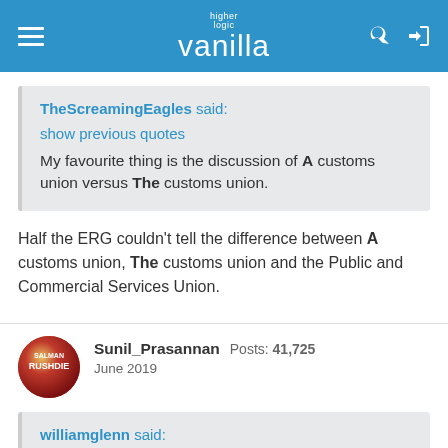higher logic vanilla
TheScreamingEagles said:
show previous quotes
My favourite thing is the discussion of A customs union versus The customs union.
Half the ERG couldn't tell the difference between A customs union, The customs union and the Public and Commercial Services Union.
Sunil_Prasannan  Posts: 41,725
June 2019
williamglenn said: